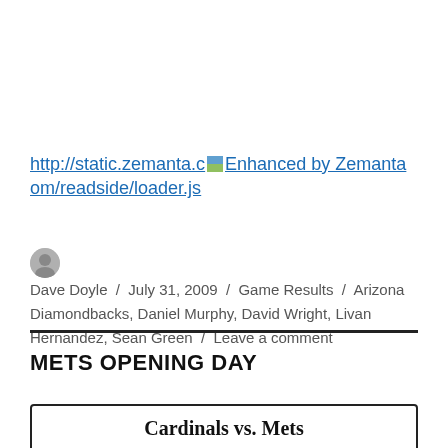http://static.zemanta.com/readside/loader.js  Enhanced by Zemanta
Dave Doyle / July 31, 2009 / Game Results / Arizona Diamondbacks, Daniel Murphy, David Wright, Livan Hernandez, Sean Green / Leave a comment
METS OPENING DAY
Cardinals vs. Mets